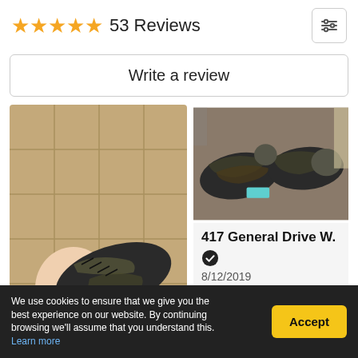★★★★★ 53 Reviews
Write a review
[Figure (photo): Photo of a person's foot wearing a black and camouflage soccer/football cleat on a tile floor]
[Figure (photo): Photo of black and camouflage soccer/football cleats displayed on a surface]
417 General Drive W.
8/12/2019
★★★★★
We use cookies to ensure that we give you the best experience on our website. By continuing browsing we'll assume that you understand this. Learn more
Accept